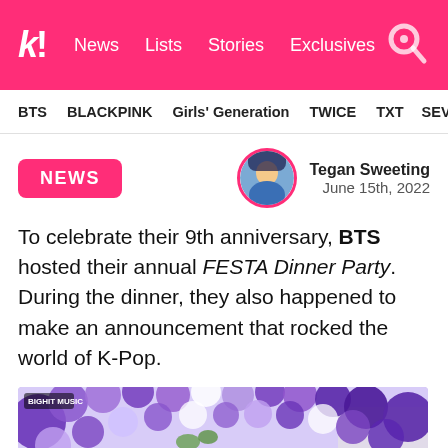K! News Lists Stories Exclusives
BTS   BLACKPINK   Girls' Generation   TWICE   TXT   SEVE
NEWS
Tegan Sweeting
June 15th, 2022
To celebrate their 9th anniversary, BTS hosted their annual FESTA Dinner Party. During the dinner, they also happened to make an announcement that rocked the world of K-Pop.
[Figure (photo): BTS members gathered around a dinner table with purple and white balloon decorations arranged in an arch, silver BTS letter balloons in the background, celebration setting]